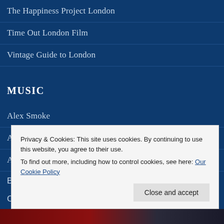The Happiness Project London
Time Out London Film
Vintage Guide to London
MUSIC
Alex Smoke
Alloy Orchestra
Andrew Youdell
Privacy & Cookies: This site uses cookies. By continuing to use this website, you agree to their use.
To find out more, including how to control cookies, see here: Our Cookie Policy
Close and accept